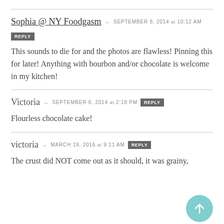Sophia @ NY Foodgasm – SEPTEMBER 8, 2014 at 10:12 AM
REPLY
This sounds to die for and the photos are flawless! Pinning this for later! Anything with bourbon and/or chocolate is welcome in my kitchen!
Victoria – SEPTEMBER 8, 2014 at 2:18 PM REPLY
Flourless chocolate cake!
victoria – MARCH 19, 2016 at 9:11 AM REPLY
The crust did NOT come out as it should, it was grainy,